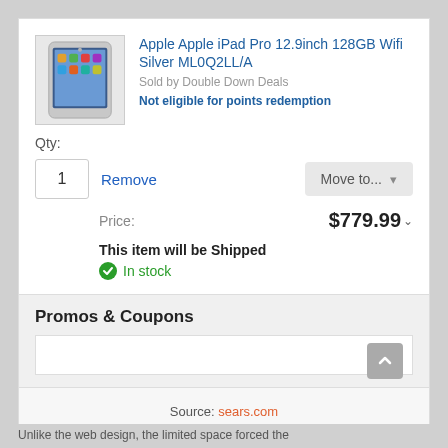[Figure (screenshot): Product listing card for Apple iPad Pro 12.9inch 128GB Wifi Silver ML0Q2LL/A on sears.com, showing product image, seller info, quantity selector, Remove and Move to buttons, price $779.99, shipping and stock info, and Promos & Coupons section]
Apple Apple iPad Pro 12.9inch 128GB Wifi Silver ML0Q2LL/A
Sold by Double Down Deals
Not eligible for points redemption
Qty:
1
Remove
Move to...
Price: $779.99
This item will be Shipped
In stock
Promos & Coupons
Source: sears.com
Unlike the web design, the limited space forced the